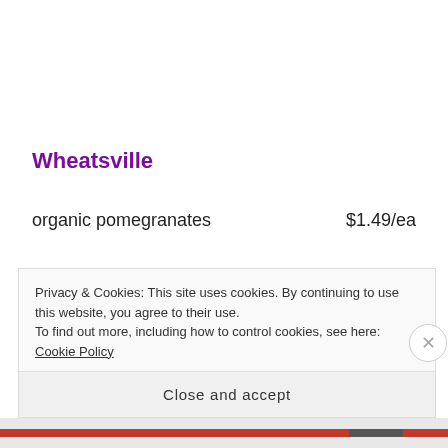Wheatsville
organic pomegranates    $1.49/ea
Trader Joe's
Privacy & Cookies: This site uses cookies. By continuing to use this website, you agree to their use.
To find out more, including how to control cookies, see here: Cookie Policy
Close and accept